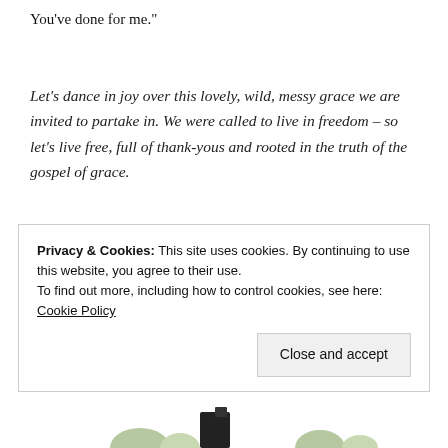You've done for me."
Let's dance in joy over this lovely, wild, messy grace we are invited to partake in. We were called to live in freedom – so let's live free, full of thank-yous and rooted in the truth of the gospel of grace.
Privacy & Cookies: This site uses cookies. By continuing to use this website, you agree to their use.
To find out more, including how to control cookies, see here: Cookie Policy
Close and accept